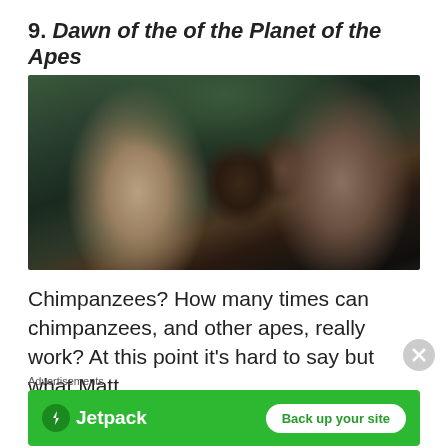9. Dawn of the of the Planet of the Apes
[Figure (photo): Movie still from Dawn of the Planet of the Apes showing a woman, a chimpanzee, and a young man in a forest setting]
Chimpanzees? How many times can chimpanzees, and other apes, really work? At this point it's hard to say but what Matt
Advertisements
[Figure (logo): Jetpack advertisement banner with green background, Jetpack logo with lightning bolt icon, and 'Back up your site' button]